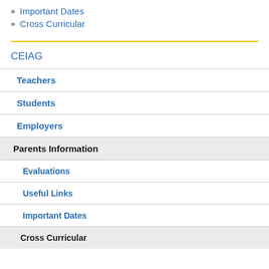» Important Dates
» Cross Curricular
CEIAG
Teachers
Students
Employers
Parents Information
Evaluations
Useful Links
Important Dates
Cross Curricular